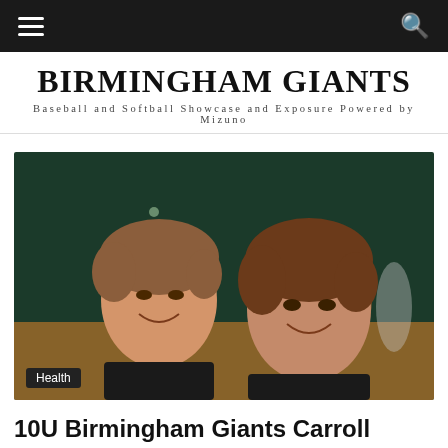Birmingham Giants — Baseball and Softball Showcase and Exposure Powered by Mizuno
[Figure (photo): Two young girls in black softball uniforms smiling at the camera on a softball field at night, with lights and players visible in the background. A person in an orange shirt is visible behind them.]
Health
10U Birmingham Giants Carroll brings home Title